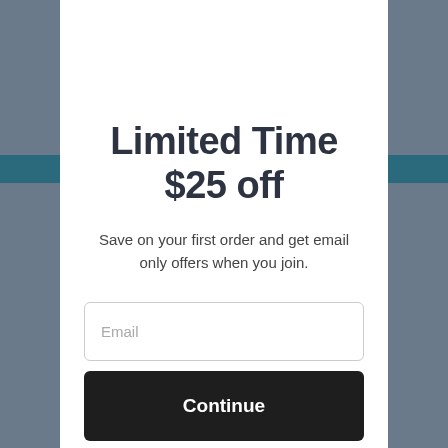Limited Time $25 off
Save on your first order and get email only offers when you join.
Email
Continue